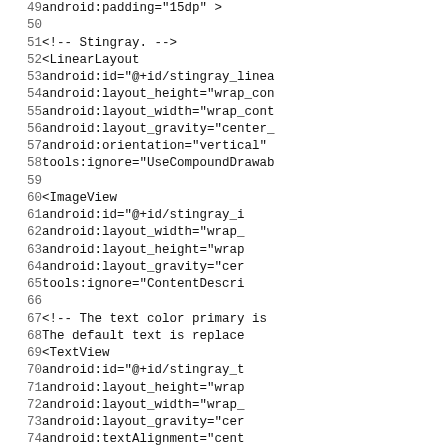Code listing showing Android XML layout file lines 49-81 with LinearLayout, ImageView, and TextView elements for Stingray component